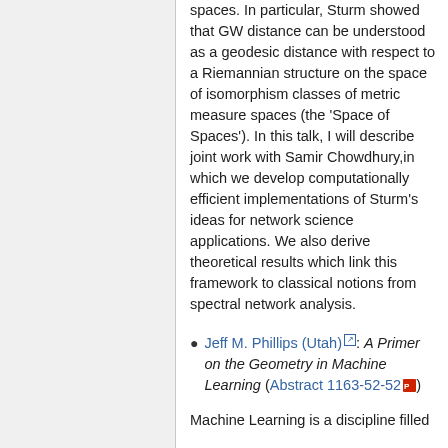spaces. In particular, Sturm showed that GW distance can be understood as a geodesic distance with respect to a Riemannian structure on the space of isomorphism classes of metric measure spaces (the 'Space of Spaces'). In this talk, I will describe joint work with Samir Chowdhury,in which we develop computationally efficient implementations of Sturm's ideas for network science applications. We also derive theoretical results which link this framework to classical notions from spectral network analysis.
Jeff M. Phillips (Utah): A Primer on the Geometry in Machine Learning (Abstract 1163-52-52)
Machine Learning is a discipline filled